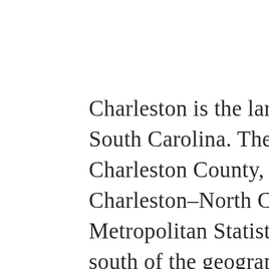Charleston is the largest city in the U.S. state of South Carolina. The city is the county seat of Charleston County, and the principal city in the Charleston–North Charleston–Summerville Metropolitan Statistical Area. The city lies just south of the geographical midpoint of South Carolina's coastline and is located on Charleston Harbor, an inlet of the Atlantic Ocean formed by the confluence of the Ashley, Cooper, and Wando rivers. Charleston had an estimated population of 137,566 in 2019. The estimated population of the Charleston metropolitan area, comprising Berkeley, Charleston, and